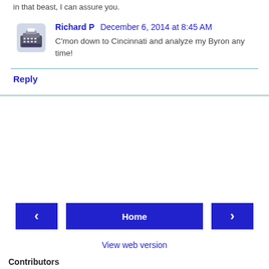in that beast, I can assure you.
Richard P  December 6, 2014 at 8:45 AM
C'mon down to Cincinnati and analyze my Byron any time!
Reply
Home
View web version
Contributors